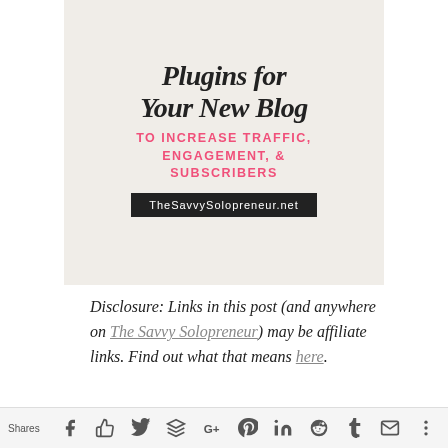[Figure (illustration): Blog post promotional image on light beige background. Large black script/italic text reading 'Plugins for Your New Blog' at top, pink bold uppercase text 'TO INCREASE TRAFFIC, ENGAGEMENT, & SUBSCRIBERS' in middle, and black banner with white text 'TheSavvySolopreneur.net' at bottom.]
Disclosure: Links in this post (and anywhere on The Savvy Solopreneur) may be affiliate links. Find out what that means here.
Shares [social share icons: Facebook, Like, Twitter, Buffer, Google+, Pinterest, LinkedIn, Reddit, Tumblr, Email, More]